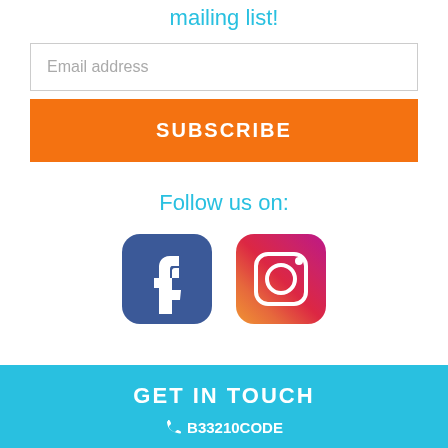mailing list!
Email address
SUBSCRIBE
Follow us on:
[Figure (logo): Facebook and Instagram social media icons side by side]
GET IN TOUCH
B33210CODE